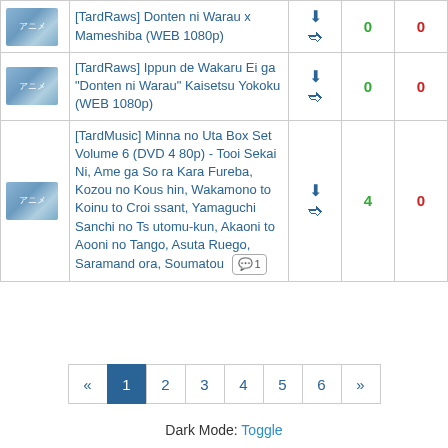| Thumb | Title | Actions | Seeders | Leechers |
| --- | --- | --- | --- | --- |
| [img] | [TardRaws] Donten ni Warau x Mameshiba (WEB 1080p) | [icons] | 0 | 0 |
| [img] | [TardRaws] Ippun de Wakaru Eiga "Donten ni Warau" Kaisetsu Yokoku (WEB 1080p) | [icons] | 0 | 0 |
| [img] | [TardMusic] Minna no Uta Box Set Volume 6 (DVD 480p) - Tooi Sekai Ni, Ame ga Sora Kara Fureba, Kozou no Koushin, Wakamono to Koinu to Croissant, Yamaguchi Sanchi no Tsutomu-kun, Akaoni to Aooni no Tango, Asuta Ruego, Saramandora, Soumatou [1] | [icons] | 4 | 0 |
« 1 2 3 4 5 6 »
Dark Mode: Toggle